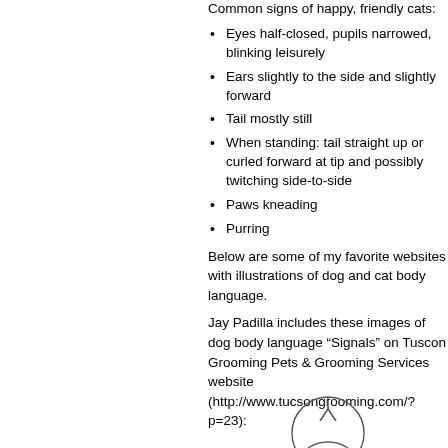Common signs of happy, friendly cats:
Eyes half-closed, pupils narrowed, blinking leisurely
Ears slightly to the side and slightly forward
Tail mostly still
When standing: tail straight up or curled forward at tip and possibly twitching side-to-side
Paws kneading
Purring
Below are some of my favorite websites with illustrations of dog and cat body language.
Jay Padilla includes these images of dog body language “Signals” on Tuscon Grooming Pets & Grooming Services website (http://www.tucsongrooming.com/?p=23):
[Figure (illustration): Partial circular logo or illustration at the bottom of the page]